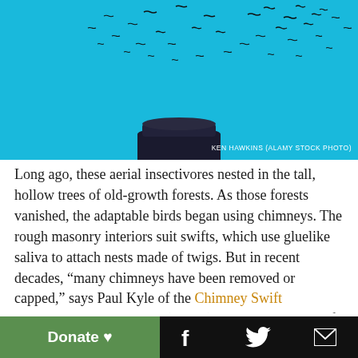[Figure (photo): Flock of chimney swifts flying above a chimney against a bright blue sky. Photo credit: KEN HAWKINS (ALAMY STOCK PHOTO)]
Long ago, these aerial insectivores nested in the tall, hollow trees of old-growth forests. As those forests vanished, the adaptable birds began using chimneys. The rough masonry interiors suit swifts, which use gluelike saliva to attach nests made of twigs. But in recent decades, “many chimneys have been removed or capped,” says Paul Kyle of the Chimney Swift Conservation Association (CSCA), “and the interiors of new chimneys are almost exclusively
Donate ♥   f   🐦   ✉